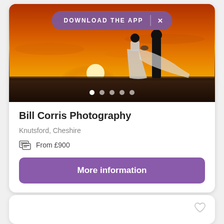[Figure (photo): Wedding couple silhouette at golden sunset, bride in long gown with veil, groom in suit, outdoor field backdrop]
DOWNLOAD THE APP
Bill Corris Photography
Knutsford, Cheshire
From £900
More information